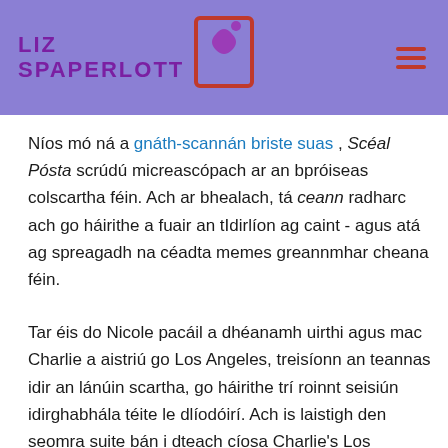Liz Spaperlott [logo with corset icon]
Níos mó ná a gnáth-scannán briste suas , Scéal Pósta scrúdú micreascópach ar an bpróiseas colscartha féin. Ach ar bhealach, tá ceann radharc ach go háirithe a fuair an tIdirlíon ag caint - agus atá ag spreagadh na céadta memes greannmhar cheana féin.
Tar éis do Nicole pacáil a dhéanamh uirthi agus mac Charlie a aistriú go Los Angeles, treisíonn an teannas idir an lánúin scartha, go háirithe trí roinnt seisiún idirghabhála téite le dlíodóirí. Ach is laistigh den seomra suite bán i dteach cíosa Charlie's Los Angeles a thagann rudaí chun deiridh, agus sa deireadh tairgeann an péire leagan neamhshainithe dá gcuid mothúchán dá chéile – agus é sin á dhéanamh, an gá